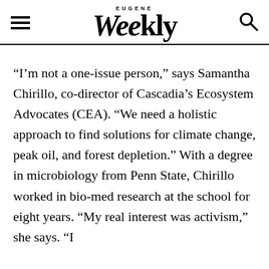EUGENE Weekly
“I’m not a one-issue person,” says Samantha Chirillo, co-director of Cascadia’s Ecosystem Advocates (CEA). “We need a holistic approach to find solutions for climate change, peak oil, and forest depletion.” With a degree in microbiology from Penn State, Chirillo worked in bio-med research at the school for eight years. “My real interest was activism,” she says. “I